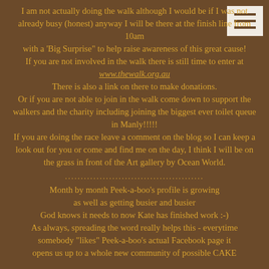I am not actually doing the walk although I would be if I was not already busy (honest) anyway I will be there at the finish line from 10am with a 'Big Surprise" to help raise awareness of this great cause! If you are not involved in the walk there is still time to enter at www.thewalk.org.au There is also a link on there to make donations. Or if you are not able to join in the walk come down to support the walkers and the charity including joining the biggest ever toilet queue in Manly!!!!! If you are doing the race leave a comment on the blog so I can keep a look out for you or come and find me on the day, I think I will be on the grass in front of the Art gallery by Ocean World.
............................................
Month by month Peek-a-boo's profile is growing as well as getting busier and busier God knows it needs to now Kate has finished work :-) As always, spreading the word really helps this - everytime somebody "likes" Peek-a-boo's actual Facebook page it opens us up to a whole new community of possible CAKE